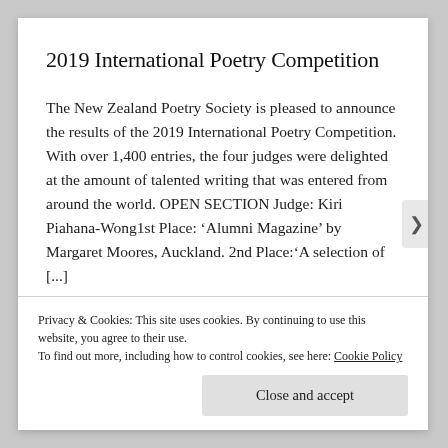2019 International Poetry Competition
The New Zealand Poetry Society is pleased to announce the results of the 2019 International Poetry Competition. With over 1,400 entries, the four judges were delighted at the amount of talented writing that was entered from around the world. OPEN SECTION Judge: Kiri Piahana-Wong1st Place: ‘Alumni Magazine’ by Margaret Moores, Auckland. 2nd Place:‘A selection of [...]
Privacy & Cookies: This site uses cookies. By continuing to use this website, you agree to their use.
To find out more, including how to control cookies, see here: Cookie Policy
Close and accept